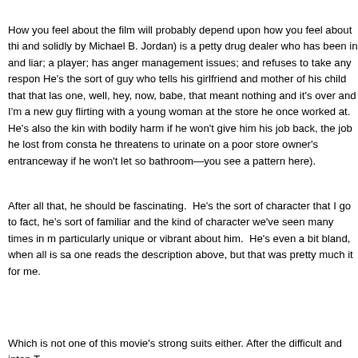How you feel about the film will probably depend upon how you feel about thi and solidly by Michael B. Jordan) is a petty drug dealer who has been in and liar; a player; has anger management issues; and refuses to take any respon He's the sort of guy who tells his girlfriend and mother of his child that that las one, well, hey, now, babe, that meant nothing and it's over and I'm a new guy flirting with a young woman at the store he once worked at.  He's also the kin with bodily harm if he won't give him his job back, the job he lost from consta he threatens to urinate on a poor store owner's entranceway if he won't let so bathroom—you see a pattern here).
After all that, he should be fascinating.  He's the sort of character that I go to fact, he's sort of familiar and the kind of character we've seen many times in m particularly unique or vibrant about him.  He's even a bit bland, when all is sa one reads the description above, but that was pretty much it for me.
Which is not one of this movie's strong suits either. After the difficult and inten T...